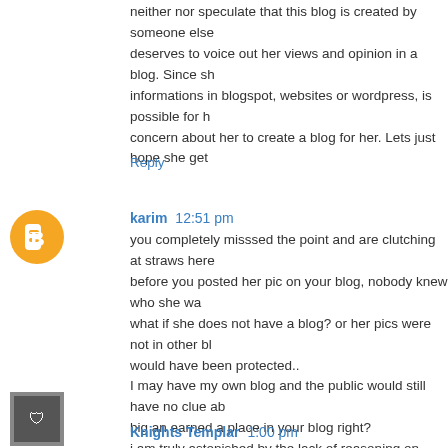neither nor speculate that this blog is created by someone else deserves to voice out her views and opinion in a blog. Since sh informations in blogspot, websites or wordpress, is possible for h concern about her to create a blog for her. Lets just hope she get
Reply
karim  12:51 pm
you completely misssed the point and are clutching at straws here
before you posted her pic on your blog, nobody knew who she wa
what if she does not have a blog? or her pics were not in other bl would have been protected..
I may have my own blog and the public would still have no clue ab big an earned a place in your blog right?
i am truly astonished by the lack of reasoning on your side...
Karim.
Reply
Knights Templar  1:00 pm